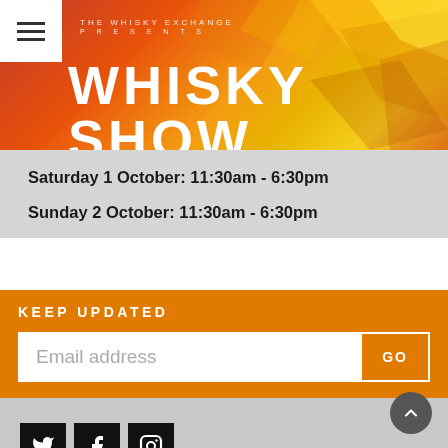[Figure (screenshot): Whisky Show website header banner with orange/red gradient and geometric polygon shapes. Contains hamburger menu icon top-left, 'THE WHISKY EXCHANGE PRESENTS' text, and 'WHISKY SHOW' large white title.]
Saturday 1 October: 11:30am - 6:30pm
Sunday 2 October: 11:30am - 6:30pm
KEEP UPDATED
Email address
[Figure (screenshot): Social media icons: Twitter, Facebook, Instagram in black square buttons]
CONTACT | TERMS & PRIVACY | SITE MAP | MEET THE TEAM | SUBSCRIPTION
COPYRIGHT © THE WHISKY EXCHANGE WHISKY SHOW 2022. ALL RIGHTS RESERVED. ENJOY RESPONSIBLY. drinkaware.co.uk